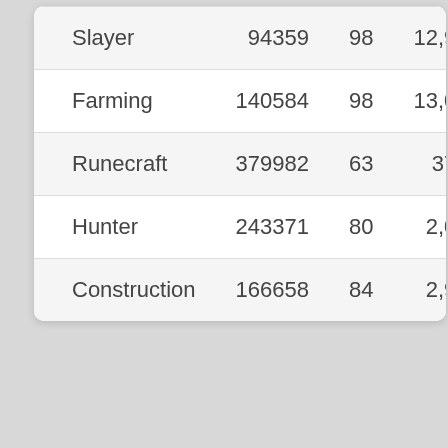| Slayer | 94359 | 98 | 12,9… |
| Farming | 140584 | 98 | 13,0… |
| Runecraft | 379982 | 63 | 37… |
| Hunter | 243371 | 80 | 2,0… |
| Construction | 166658 | 84 | 2,9… |